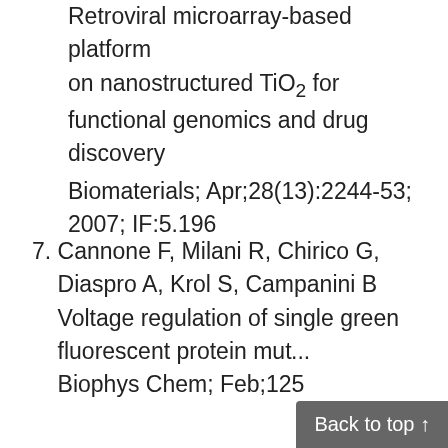Retroviral microarray-based platform on nanostructured TiO2 for functional genomics and drug discovery Biomaterials; Apr;28(13):2244-53; 2007; IF:5.196
7. Cannone F, Milani R, Chirico G, Diaspro A, Krol S, Campanini B Voltage regulation of single green fluorescent protein mu... Biophys Chem; Feb;125...